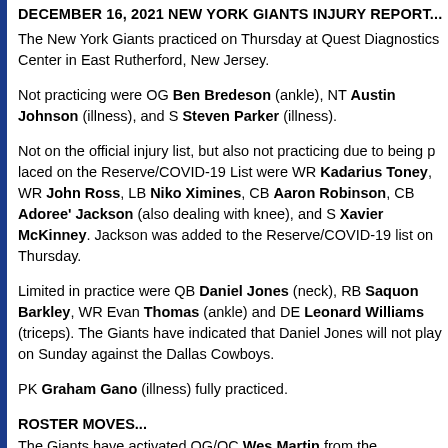DECEMBER 16, 2021 NEW YORK GIANTS INJURY REPORT...
The New York Giants practiced on Thursday at Quest Diagnostics Center in East Rutherford, New Jersey.
Not practicing were OG Ben Bredeson (ankle), NT Austin Johnson (illness), and S Steven Parker (illness).
Not on the official injury list, but also not practicing due to being placed on the Reserve/COVID-19 List were WR Kadarius Toney, WR John Ross, LB Niko Ximines, CB Aaron Robinson, CB Adoree' Jackson (also dealing with knee), and S Xavier McKinney. Jackson was added to the Reserve/COVID-19 list on Thursday.
Limited in practice were QB Daniel Jones (neck), RB Saquon Barkley, WR Evan Thomas (ankle) and DE Leonard Williams (triceps). The Giants have indicated that Daniel Jones will not play on Sunday against the Dallas Cowboys.
PK Graham Gano (illness) fully practiced.
ROSTER MOVES...
The Giants have activated OG/OC Wes Martin from the Reserve/COVID-19 list. He was placed on that list on December 6th. The team also activated WR/r...